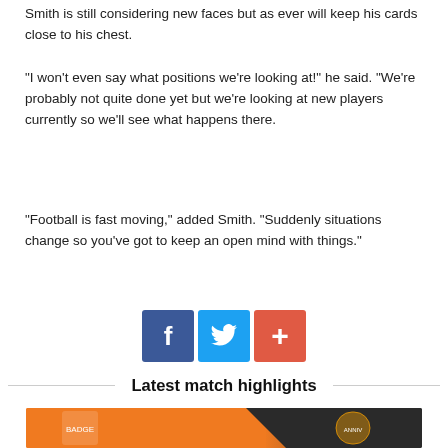Smith is still considering new faces but as ever will keep his cards close to his chest.
“I won’t even say what positions we’re looking at!” he said. “We’re probably not quite done yet but we’re looking at new players currently so we’ll see what happens there.
“Football is fast moving,” added Smith. “Suddenly situations change so you’ve got to keep an open mind with things.”
[Figure (infographic): Social sharing buttons: Facebook (blue), Twitter (light blue), and a red plus/more button]
Latest match highlights
[Figure (photo): Match highlight thumbnail with orange and dark background, showing two club badges]